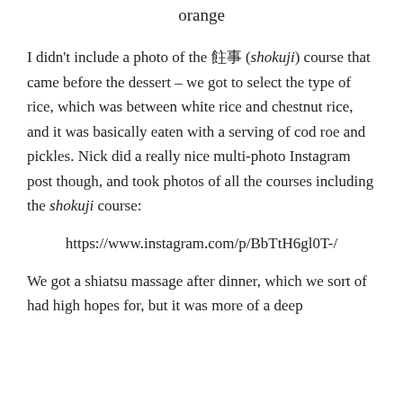orange
I didn't include a photo of the 食事 (shokuji) course that came before the dessert – we got to select the type of rice, which was between white rice and chestnut rice, and it was basically eaten with a serving of cod roe and pickles. Nick did a really nice multi-photo Instagram post though, and took photos of all the courses including the shokuji course:
https://www.instagram.com/p/BbTtH6gl0T-/
We got a shiatsu massage after dinner, which we sort of had high hopes for, but it was more of a deep